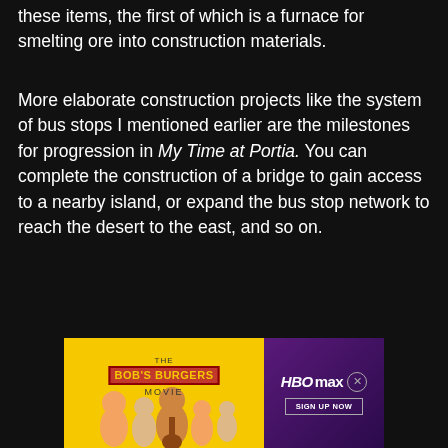these items, the first of which is a furnace for smelting ore into construction materials.
More elaborate construction projects like the system of bus stops I mentioned earlier are the milestones for progression in My Time at Portia. You can complete the construction of a bridge to gain access to a nearby island, or expand the bus stop network to reach the desert to the east, and so on.
[Figure (illustration): Advertisement banner for The Bob's Burgers Movie (left side, yellow background with animated characters) and HBO Max (right side, purple gradient background with HBO Max logo and Sign Up Now button with close X button)]